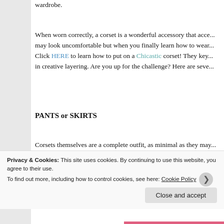wardrobe.
When worn correctly, a corset is a wonderful accessory that acce... may look uncomfortable but when you finally learn how to wear... Click HERE to learn how to put on a Chicastic corset! They key... in creative layering. Are you up for the challenge? Here are seve...
PANTS or SKIRTS
Corsets themselves are a complete outfit, as minimal as they may... in the way of flashy details it will take attention away from the p... trying to accentuate. Instead of a flashy pant or skirt, try a subtle... trouser or pencil skirt. You want to stay away from shorter skirts... cardigan or blazer over it. Corsets are already sexy, so balance is...
Privacy & Cookies: This site uses cookies. By continuing to use this website, you agree to their use.
To find out more, including how to control cookies, see here: Cookie Policy
Close and accept